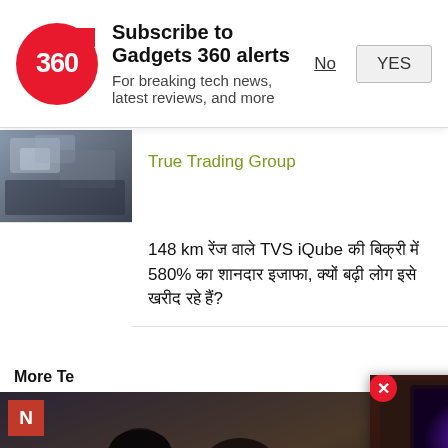[Figure (screenshot): Gadgets 360 notification subscription banner with red circular logo showing '360', bold title 'Subscribe to Gadgets 360 alerts', subtitle 'For breaking tech news, latest reviews, and more', and two buttons 'No' and 'YES']
[Figure (photo): Advertisement thumbnail showing dark tech/trading image]
True Trading Group
148 km रेंज वाले TVS iQube की बिक्री में 580% का शानदार इजाफा, क्यों बढ़ी लोग इसे खरीद रहे हैं?
More Te
[Figure (photo): Photo of two people, a woman and a young man, in a dark indoor setting, with an N logo badge in the top left corner]
[Figure (screenshot): Video popup overlay showing a TV with galaxy/space wallpaper, with a red circular play button and a red X close button]